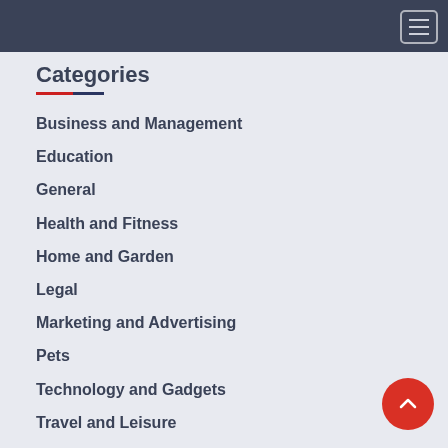Categories
Business and Management
Education
General
Health and Fitness
Home and Garden
Legal
Marketing and Advertising
Pets
Technology and Gadgets
Travel and Leisure